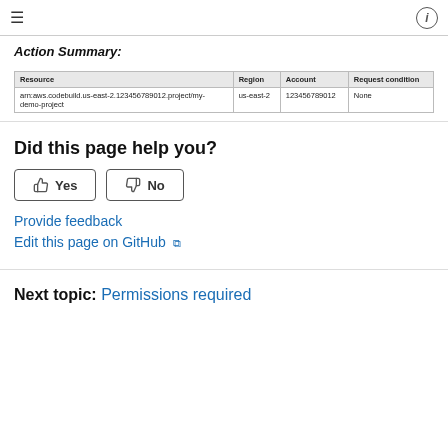≡  ⓘ
Action Summary:
| Resource | Region | Account | Request condition |
| --- | --- | --- | --- |
| arn:aws.codebuild.us-east-2.123456789012.project/my-demo-project | us-east-2 | 123456789012 | None |
Did this page help you?
Yes   No
Provide feedback
Edit this page on GitHub ↗
Next topic: Permissions required